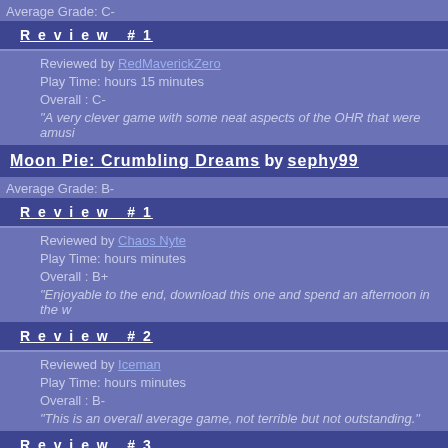Average Grade: C-
Review #1
Reviewed by RedMaverickZero
Play Time: hours 15 minutes
Overall : C-
"A very clever game with some neat aspects of the OHR that were amusi
Moon Pie: Crumbling Dreams by sephy99
Average Grade: B-
Review #1
Reviewed by Chaos Nyte
Play Time: hours minutes
Overall : B+
"Enjoyable to the end, download this one and spend an afternoon in the w
Review #2
Reviewed by Iceman
Play Time: hours minutes
Overall : B-
"This is an overall average game, not terrible but not outstanding."
Review #3
Reviewed by Psyco2000
Play Time: hours minutes
Overall : C